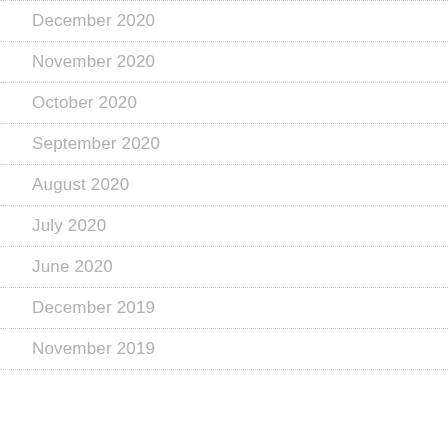December 2020
November 2020
October 2020
September 2020
August 2020
July 2020
June 2020
December 2019
November 2019